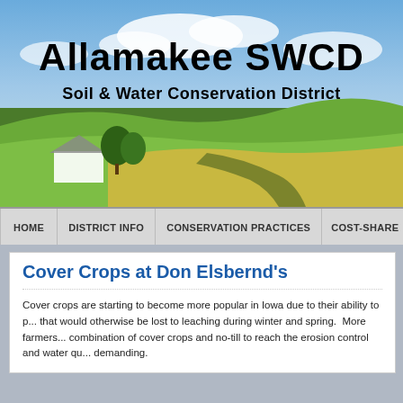[Figure (photo): Aerial landscape photo of rolling Iowa farmland with green fields, trees, a white barn building, and blue sky with clouds. Overlaid with text: 'Allamakee SWCD' in large bold black text and 'Soil & Water Conservation District' in bold black text below.]
HOME | DISTRICT INFO | CONSERVATION PRACTICES | COST-SHARE
Cover Crops at Don Elsbernd's
Cover crops are starting to become more popular in Iowa due to their ability to p... that would otherwise be lost to leaching during winter and spring.  More farmers... combination of cover crops and no-till to reach the erosion control and water qu... demanding.